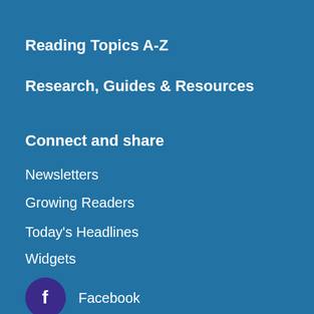Reading Topics A-Z
Research, Guides & Resources
Connect and share
Newsletters
Growing Readers
Today's Headlines
Widgets
Facebook
Twitter
Pinterest
RSS